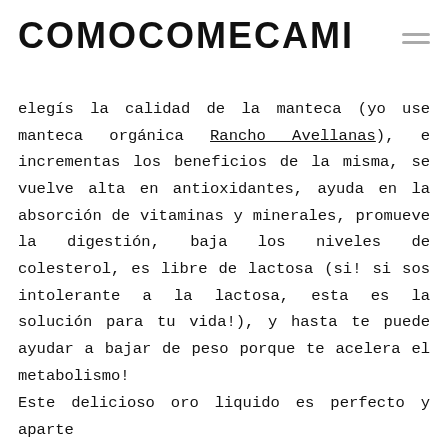COMOCOMECAMI
elegís la calidad de la manteca (yo use manteca orgánica Rancho Avellanas), e incrementas los beneficios de la misma, se vuelve alta en antioxidantes, ayuda en la absorción de vitaminas y minerales, promueve la digestión, baja los niveles de colesterol, es libre de lactosa (si! si sos intolerante a la lactosa, esta es la solución para tu vida!), y hasta te puede ayudar a bajar de peso porque te acelera el metabolismo!
Este delicioso oro liquido es perfecto y aparte